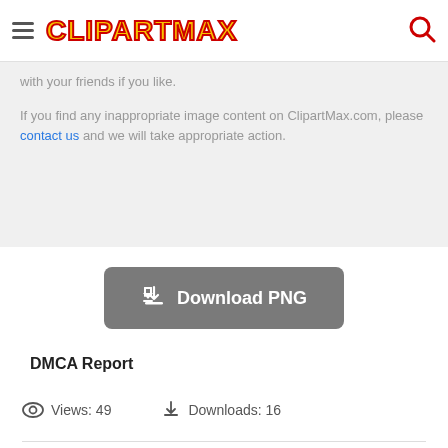ClipartMax
with your friends if you like.
If you find any inappropriate image content on ClipartMax.com, please contact us and we will take appropriate action.
[Figure (other): Download PNG button with download icon]
DMCA Report
Views: 49    Downloads: 16